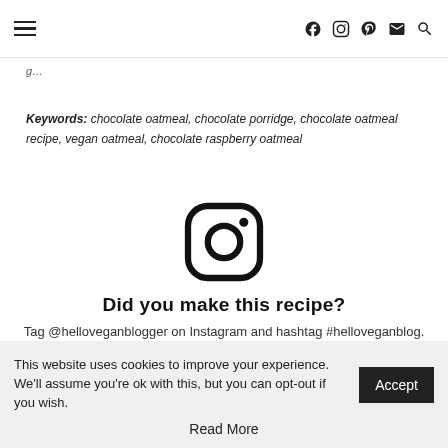[hamburger menu] [facebook] [instagram] [pinterest] [email] [search]
g…
Keywords: chocolate oatmeal, chocolate porridge, chocolate oatmeal recipe, vegan oatmeal, chocolate raspberry oatmeal
[Figure (logo): Instagram logo icon (camera outline with rounded square border and dot)]
Did you make this recipe?
Tag @helloveganblogger on Instagram and hashtag #helloveganblog.
This website uses cookies to improve your experience. We'll assume you're ok with this, but you can opt-out if you wish. Accept Read More